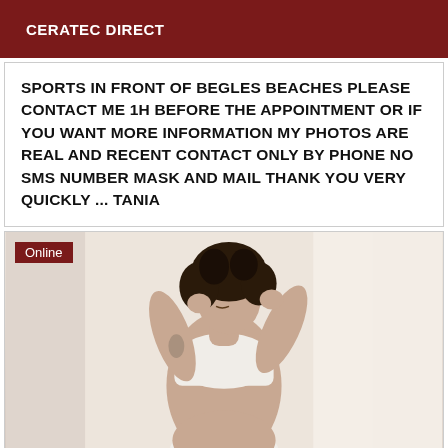CERATEC DIRECT
SPORTS IN FRONT OF BEGLES BEACHES PLEASE CONTACT ME 1H BEFORE THE APPOINTMENT OR IF YOU WANT MORE INFORMATION MY PHOTOS ARE REAL AND RECENT CONTACT ONLY BY PHONE NO SMS NUMBER MASK AND MAIL THANK YOU VERY QUICKLY ... TANIA
[Figure (photo): Person posing indoors wearing white athletic wear, with curly dark hair, with 'Online' badge in top-left corner]